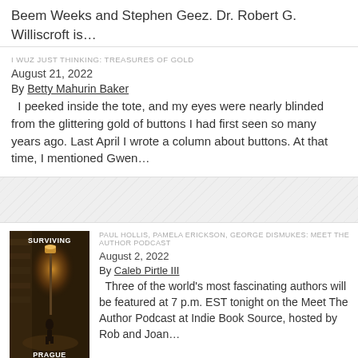Beem Weeks and Stephen Geez. Dr. Robert G. Williscroft is...
I WUZ JUST THINKING: TREASURES OF GOLD
August 21, 2022
By Betty Mahurin Baker
I peeked inside the tote, and my eyes were nearly blinded from the glittering gold of buttons I had first seen so many years ago. Last April I wrote a column about buttons. At that time, I mentioned Gwen...
[Figure (photo): Book cover for 'Surviving Prague' showing a dark, foggy street scene with a figure walking and a lamp post glowing amber]
PAUL HOLLIS, PAMELA ERICKSON, GEORGE DISMUKES: MEET THE AUTHOR PODCAST
August 2, 2022
By Caleb Pirtle III
Three of the world's most fascinating authors will be featured at 7 p.m. EST tonight on the Meet The Author Podcast at Indie Book Source, hosted by Rob and Joan...